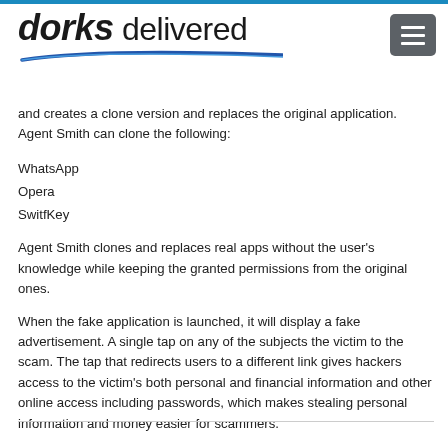[Figure (logo): Dorks Delivered logo with italic bold 'dorks' and regular 'delivered' text, with a blue swoosh underline]
and creates a clone version and replaces the original application. Agent Smith can clone the following:
WhatsApp
Opera
SwitfKey
Agent Smith clones and replaces real apps without the user's knowledge while keeping the granted permissions from the original ones.
When the fake application is launched, it will display a fake advertisement. A single tap on any of the subjects the victim to the scam. The tap that redirects users to a different link gives hackers access to the victim's both personal and financial information and other online access including passwords, which makes stealing personal information and money easier for scammers.